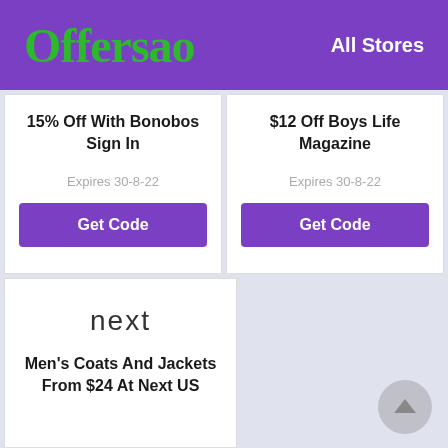Offersao — All Stores
15% Off With Bonobos Sign In
Expires 30-8-22
Get Code
$12 Off Boys Life Magazine
Expires 30-8-22
Get Code
[Figure (logo): Next logo in lowercase letters]
Men's Coats And Jackets From $24 At Next US